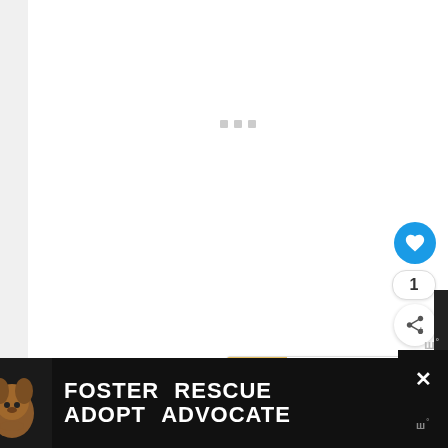[Figure (screenshot): Webpage loading state with gray dots/spinner in center of mostly white page with left gray sidebar border]
[Figure (infographic): Blue circular heart/like button with white heart icon]
1
[Figure (infographic): White circular share button with share icon]
[Figure (screenshot): What's Next card showing Norfolk Terrier Dog Breed... with dog thumbnail image and Wibbitz logo]
WHAT'S NEXT → Norfolk Terrier Dog Breed...
[Figure (photo): Advertisement banner: FOSTER ADOPT / RESCUE ADVOCATE with beagle dog image on dark background]
FOSTER ADOPT RESCUE ADVOCATE